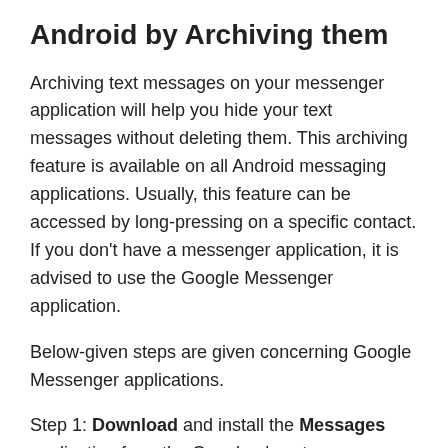Android by Archiving them
Archiving text messages on your messenger application will help you hide your text messages without deleting them. This archiving feature is available on all Android messaging applications. Usually, this feature can be accessed by long-pressing on a specific contact. If you don't have a messenger application, it is advised to use the Google Messenger application.
Below-given steps are given concerning Google Messenger applications.
Step 1: Download and install the Messages application from the Google play store.